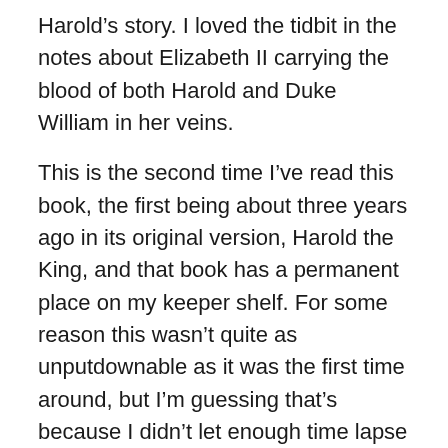Harold’s story. I loved the tidbit in the notes about Elizabeth II carrying the blood of both Harold and Duke William in her veins.
This is the second time I’ve read this book, the first being about three years ago in its original version, Harold the King, and that book has a permanent place on my keeper shelf. For some reason this wasn’t quite as unputdownable as it was the first time around, but I’m guessing that’s because I didn’t let enough time lapse between the reads and much of it was still fresh in my mind. I still loved it, highly recommend it and should appeal to both male and female readersFor those interested in reading other novels on this period I’d recommend Valerie Anand’s Gildenford (the first in a trilogy), although don’t read it too close together with this one as you’ll get a lot of been-there done-that. Parke